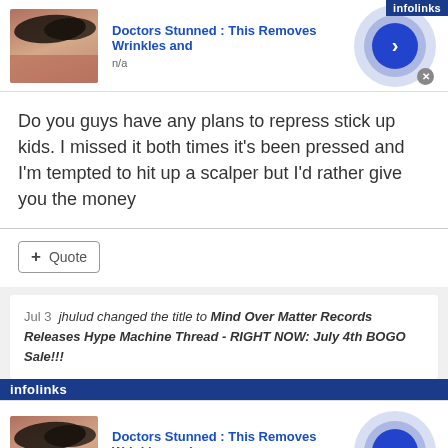[Figure (screenshot): Advertisement banner: woman with elaborate eye makeup, title 'Doctors Stunned : This Removes Wrinkles and', n/a label, blue circular arrow button, close X button, Infolinks label]
Do you guys have any plans to repress stick up kids. I missed it both times it's been pressed and I'm tempted to hit up a scalper but I'd rather give you the money
+ Quote
Jul 3  jhulud changed the title to Mind Over Matter Records Releases Hype Machine Thread - RIGHT NOW: July 4th BOGO Sale!!!
[Figure (screenshot): Second advertisement banner: same woman with elaborate eye makeup, title 'Doctors Stunned : This Removes Wrinkles and', n/a label, blue circular arrow button, close X button, Infolinks bar]